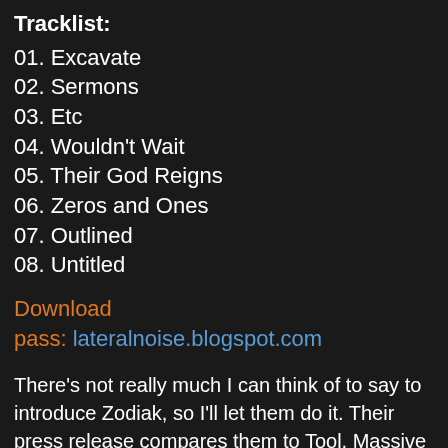Tracklist:
01. Excavate
02. Sermons
03. Etc
04. Wouldn't Wait
05. Their God Reigns
06. Zeros and Ones
07. Outlined
08. Untitled
Download
pass: lateralnoise.blogspot.com
There's not really much I can think of to say to introduce Zodiak, so I'll let them do it. Their press release compares them to Tool, Massive Attack, Pink Floyd, and Failure, among others (those are the ones I think are the best comparisons). The album was put together out of mostly improvised jams, but, according to the band's MySpace, came out more structured than initially planned. They're also set to appear on a Syd Barrett tribute compilation coming out